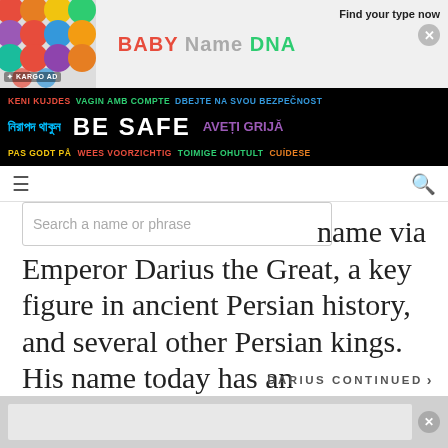KARGO AD | BABY NAME DNA | Find your type now
[Figure (screenshot): BE SAFE multilingual public safety banner with text in multiple languages including Bengali, French, Dutch, Estonian, Spanish, and others on black background]
Search a name or phrase
name via Emperor Darius the Great, a key figure in ancient Persian history, and several other Persian kings. His name today has an appealingly artistic image, which might well be found on a concert program or gallery announcement.
DARIUS CONTINUED >
[Advertisement banner at bottom]